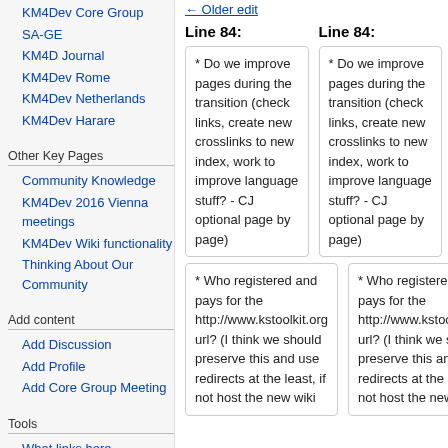KM4Dev Core Group
SA-GE
KM4D Journal
KM4Dev Rome
KM4Dev Netherlands
KM4Dev Harare
Other Key Pages
Community Knowledge
KM4Dev 2016 Vienna meetings
KM4Dev Wiki functionality
Thinking About Our Community
Add content
Add Discussion
Add Profile
Add Core Group Meeting
Tools
What links here
← Older edit
Line 84:
Line 84:
* Do we improve pages during the transition (check links, create new crosslinks to new index, work to improve language stuff? - CJ optional page by page)
* Do we improve pages during the transition (check links, create new crosslinks to new index, work to improve language stuff? - CJ optional page by page)
* Who registered and pays for the http://www.kstoolkit.org url? (I think we should preserve this and use redirects at the least, if not host the new wiki
* Who registered and pays for the http://www.kstoolkit.org url? (I think we should preserve this and use redirects at the least, if not host the new wiki